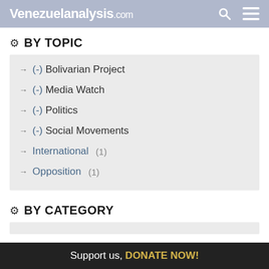Venezuelanalysis.com
BY TOPIC
(-) Bolivarian Project
(-) Media Watch
(-) Politics
(-) Social Movements
International (1)
Opposition (1)
BY CATEGORY
Support us, DONATE NOW!